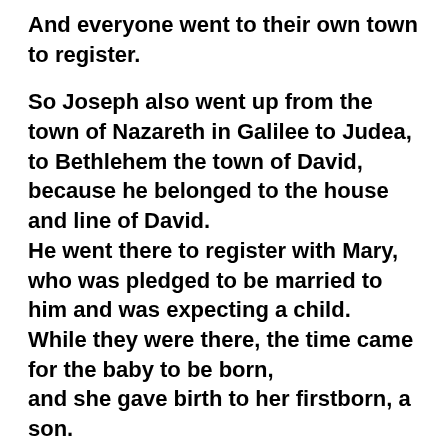And everyone went to their own town to register.
So Joseph also went up from the town of Nazareth in Galilee to Judea, to Bethlehem the town of David, because he belonged to the house and line of David. He went there to register with Mary, who was pledged to be married to him and was expecting a child. While they were there, the time came for the baby to be born, and she gave birth to her firstborn, a son. She wrapped him in cloths and placed him in a manger, because there was no guest room available for them.
And there were shepherds living out in the fields